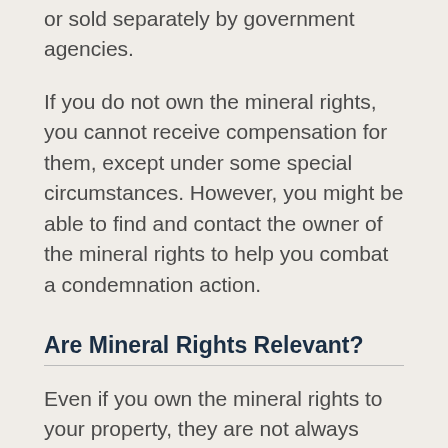or sold separately by government agencies.
If you do not own the mineral rights, you cannot receive compensation for them, except under some special circumstances. However, you might be able to find and contact the owner of the mineral rights to help you combat a condemnation action.
Are Mineral Rights Relevant?
Even if you own the mineral rights to your property, they are not always relevant to an eminent domain proceeding. Mineral rights are only relevant when the highest and best use of a property gains from them. Mineral